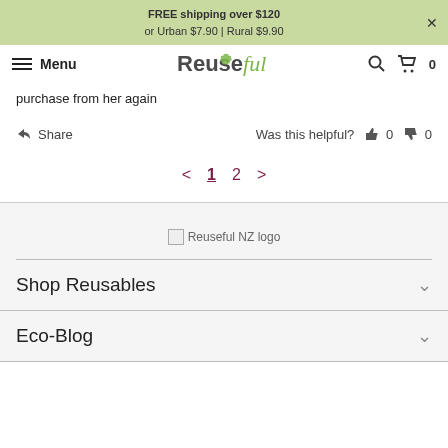FREE shipping over $120 or Urban $7.90 | Rural $9.90
Menu | Reuseful | Search | Cart 0
purchase from her again
Share   Was this helpful?  👍 0  👎 0
< 1 2 >
[Figure (logo): Reuseful NZ logo]
Shop Reusables
Eco-Blog